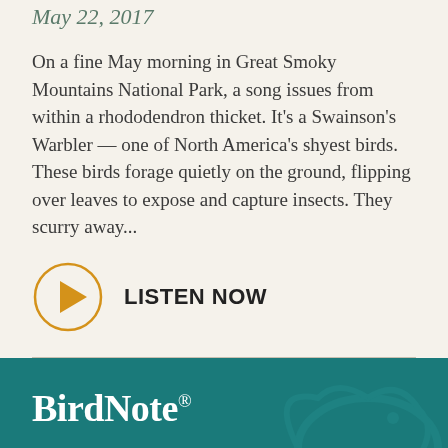May 22, 2017
On a fine May morning in Great Smoky Mountains National Park, a song issues from within a rhododendron thicket. It's a Swainson's Warbler — one of North America's shyest birds. These birds forage quietly on the ground, flipping over leaves to expose and capture insects. They scurry away...
[Figure (other): Play button circle icon with LISTEN NOW label]
BirdNote®
Birds connect us with the joy and wonder of nature. By telling vivid, sound-rich stories about birds and the challenges they face, BirdNote inspires listeners to care